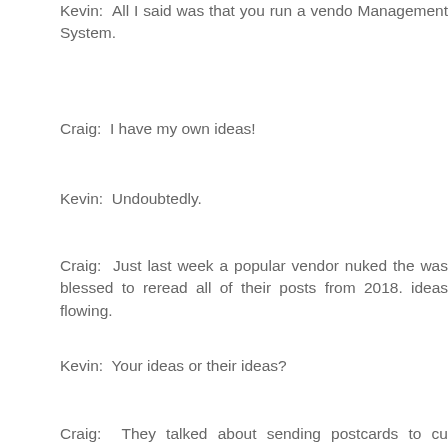Kevin:  All I said was that you run a vendor Management System.
Craig:  I have my own ideas!
Kevin:  Undoubtedly.
Craig:  Just last week a popular vendor nuked the was blessed to reread all of their posts from 2018. ideas flowing.
Kevin:  Your ideas or their ideas?
Craig:  They talked about sending postcards to cu browsing data. They talked about sending cata based on browsing data. They talked about lettin every single thing my website visitors are looking ops can monetize that information in a way that th my business. They talked about mail/holdout to